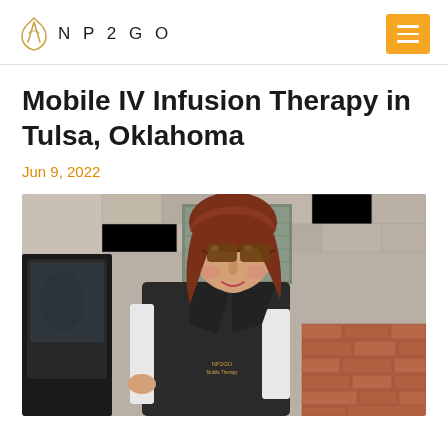NP2GO
Mobile IV Infusion Therapy in Tulsa, Oklahoma
Jun 9, 2022
[Figure (photo): A woman with auburn hair and sunglasses wearing a dark NP2GO vest over a white shirt, standing next to a vehicle door outside a stone building.]